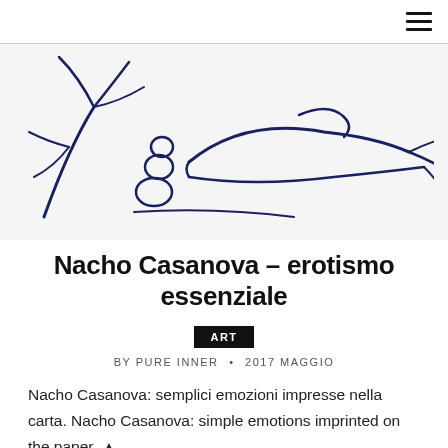[Figure (illustration): A minimalist line drawing in dark navy blue ink on white/light grey background, depicting a reclining figure and abstract organic shapes reminiscent of trees or branches.]
Nacho Casanova – erotismo essenziale
ART
BY PURE INNER • 2017 MAGGIO
Nacho Casanova: semplici emozioni impresse nella carta. Nacho Casanova: simple emotions imprinted on the paper. ▲